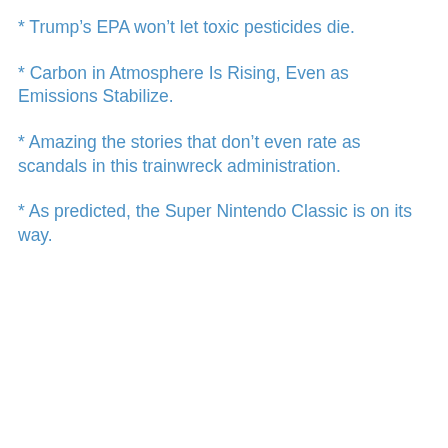* Trump's EPA won't let toxic pesticides die.
* Carbon in Atmosphere Is Rising, Even as Emissions Stabilize.
* Amazing the stories that don't even rate as scandals in this trainwreck administration.
* As predicted, the Super Nintendo Classic is on its way.